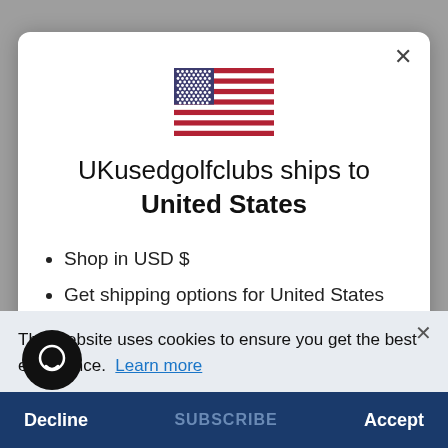[Figure (illustration): US flag emoji/icon displayed at top center of modal dialog]
UKusedgolfclubs ships to United States
Shop in USD $
Get shipping options for United States
This website uses cookies to ensure you get the best experience.  Learn more
Hello
Decline   SUBSCRIBE   Accept